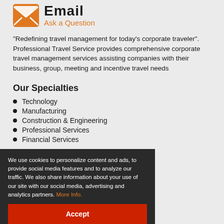[Figure (illustration): Orange envelope email icon with white X/envelope design]
Email
Ask a Question
“Redefining travel management for today’s corporate traveler”. Professional Travel Service provides comprehensive corporate travel management services assisting companies with their business, group, meeting and incentive travel needs
Our Specialties
Technology
Manufacturing
Construction & Engineering
Professional Services
Financial Services
We use cookies to personalize content and ads, to provide social media features and to analyze our traffic. We also share information about your use of our site with our social media, advertising and analytics partners. More Info.
Accept